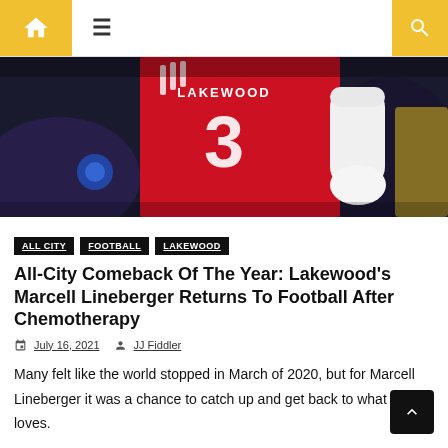Navigation bar with home, hamburger menu, and search icons
[Figure (photo): Football player in red Lakewood jersey number 3 with white gloves and arm sleeve, photographed during a night game]
ALL CITY   FOOTBALL   LAKEWOOD
All-City Comeback Of The Year: Lakewood's Marcell Lineberger Returns To Football After Chemotherapy
July 16, 2021   JJ Fiddler
Many felt like the world stopped in March of 2020, but for Marcell Lineberger it was a chance to catch up and get back to what he loves.
The Lakewood wide receiver was diagnosed with